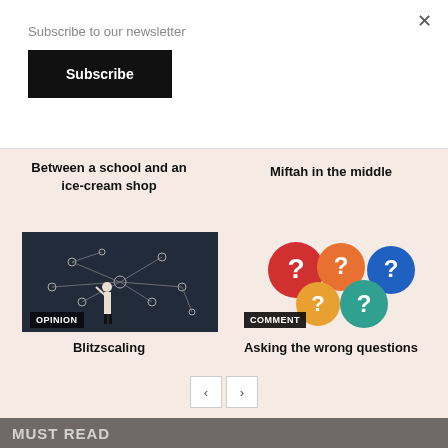Subscribe to our newsletter
Subscribe
×
Between a school and an ice-cream shop
Miftah in the middle
[Figure (photo): Person pointing at a network diagram on a chalkboard, with OPINION label overlay]
[Figure (illustration): Colorful speech bubbles with question marks in red, orange, teal, and blue, with COMMENT label overlay]
Blitzscaling
Asking the wrong questions
MUST READ